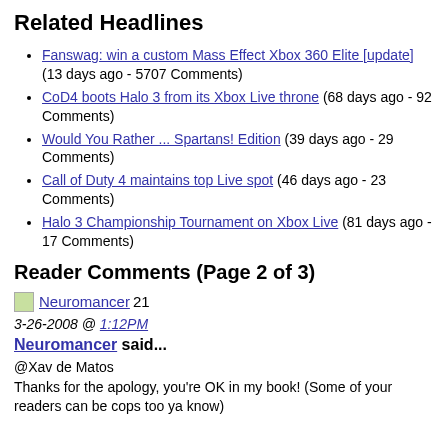Related Headlines
Fanswag: win a custom Mass Effect Xbox 360 Elite [update] (13 days ago - 5707 Comments)
CoD4 boots Halo 3 from its Xbox Live throne (68 days ago - 92 Comments)
Would You Rather ... Spartans! Edition (39 days ago - 29 Comments)
Call of Duty 4 maintains top Live spot (46 days ago - 23 Comments)
Halo 3 Championship Tournament on Xbox Live (81 days ago - 17 Comments)
Reader Comments (Page 2 of 3)
Neuromancer21
3-26-2008 @ 1:12PM
Neuromancer said...
@Xav de Matos
Thanks for the apology, you're OK in my book! (Some of your readers can be cops too ya know)